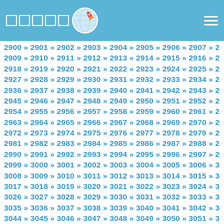Navigation header with logo and menu
2900 » 2901 » 2902 » 2903 » 2904 » 2905 » 2906 » 2907 » 2908 » 2909 » 2910 » 2911 » 2912 » 2913 » 2914 » 2915 » 2916 » 2917 » 2918 » 2919 » 2920 » 2921 » 2922 » 2923 » 2924 » 2925 » 2926 » 2927 » 2928 » 2929 » 2930 » 2931 » 2932 » 2933 » 2934 » 2935 » 2936 » 2937 » 2938 » 2939 » 2940 » 2941 » 2942 » 2943 » 2944 » 2945 » 2946 » 2947 » 2948 » 2949 » 2950 » 2951 » 2952 » 2953 » 2954 » 2955 » 2956 » 2957 » 2958 » 2959 » 2960 » 2961 » 2962 » 2963 » 2964 » 2965 » 2966 » 2967 » 2968 » 2969 » 2970 » 2971 » 2972 » 2973 » 2974 » 2975 » 2976 » 2977 » 2978 » 2979 » 2980 » 2981 » 2982 » 2983 » 2984 » 2985 » 2986 » 2987 » 2988 » 2989 » 2990 » 2991 » 2992 » 2993 » 2994 » 2995 » 2996 » 2997 » 2998 » 2999 » 3000 » 3001 » 3002 » 3003 » 3004 » 3005 » 3006 » 3007 » 3008 » 3009 » 3010 » 3011 » 3012 » 3013 » 3014 » 3015 » 3016 » 3017 » 3018 » 3019 » 3020 » 3021 » 3022 » 3023 » 3024 » 3025 » 3026 » 3027 » 3028 » 3029 » 3030 » 3031 » 3032 » 3033 » 3034 » 3035 » 3036 » 3037 » 3038 » 3039 » 3040 » 3041 » 3042 » 3043 » 3044 » 3045 » 3046 » 3047 » 3048 » 3049 » 3050 » 3051 » 3052 » 3053 » 3054 » 3055 » 3056 » 3057 » 3058 » 3059 » 3060 » 3061 » 3062 » 3063 » 3064 » 3065 » 3066 » 3067 » 3068 » 3069 » 3070 » 3071 » 3072 » 3073 » 3074 » 3075 » 3076 » 3077 » 3078 » 3079 » 3080 » 3081 » 3082 » 3083 » 3084 » 3085 » 3086 » 3087 » 3088 » 3089 » 3090 » 3091 » 3092 » 3093 » 3094 » 3095 » 3096 » 3097